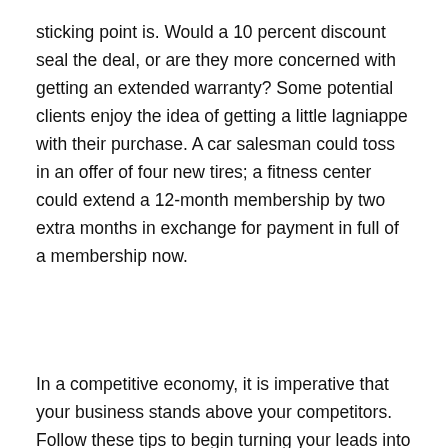sticking point is. Would a 10 percent discount seal the deal, or are they more concerned with getting an extended warranty? Some potential clients enjoy the idea of getting a little lagniappe with their purchase. A car salesman could toss in an offer of four new tires; a fitness center could extend a 12-month membership by two extra months in exchange for payment in full of a membership now.
In a competitive economy, it is imperative that your business stands above your competitors. Follow these tips to begin turning your leads into satisfied, repeat customers.
[Figure (photo): Coach-Net logo overlaid on a photo showing RVs/motorhomes on the left and three people (two adults smiling, one younger person) on the right, appearing to be in a dealership or outdoor setting.]